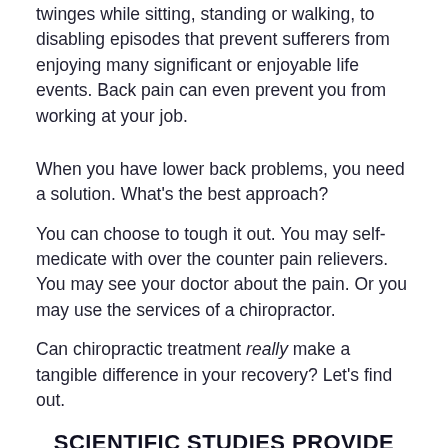twinges while sitting, standing or walking, to disabling episodes that prevent sufferers from enjoying many significant or enjoyable life events. Back pain can even prevent you from working at your job.
When you have lower back problems, you need a solution. What's the best approach?
You can choose to tough it out. You may self-medicate with over the counter pain relievers. You may see your doctor about the pain. Or you may use the services of a chiropractor.
Can chiropractic treatment really make a tangible difference in your recovery? Let's find out.
SCIENTIFIC STUDIES PROVIDE REAL ANSWERS